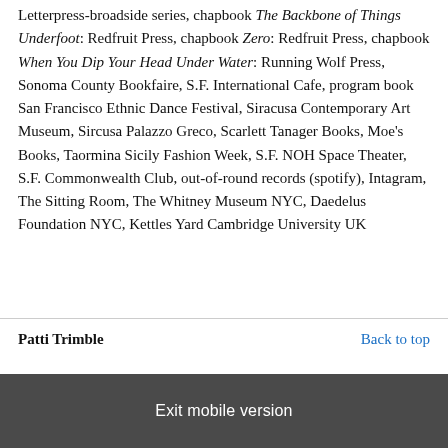Letterpress-broadside series, chapbook The Backbone of Things Underfoot: Redfruit Press, chapbook Zero: Redfruit Press, chapbook When You Dip Your Head Under Water: Running Wolf Press, Sonoma County Bookfaire, S.F. International Cafe, program book San Francisco Ethnic Dance Festival, Siracusa Contemporary Art Museum, Sircusa Palazzo Greco, Scarlett Tanager Books, Moe's Books, Taormina Sicily Fashion Week, S.F. NOH Space Theater, S.F. Commonwealth Club, out-of-round records (spotify), Intagram, The Sitting Room, The Whitney Museum NYC, Daedelus Foundation NYC, Kettles Yard Cambridge University UK
Patti Trimble
Back to top
Exit mobile version